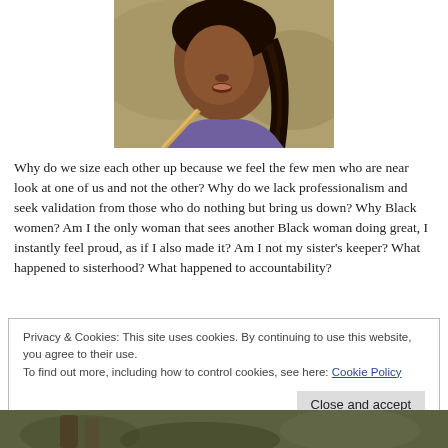[Figure (photo): Close-up photo of a Black woman with braided hair, looking upward, wearing a purple top, outdoors with blurred background.]
Why do we size each other up because we feel the few men who are near look at one of us and not the other? Why do we lack professionalism and seek validation from those who do nothing but bring us down? Why Black women? Am I the only woman that sees another Black woman doing great, I instantly feel proud, as if I also made it? Am I not my sister's keeper? What happened to sisterhood? What happened to accountability?
Privacy & Cookies: This site uses cookies. By continuing to use this website, you agree to their use.
To find out more, including how to control cookies, see here: Cookie Policy
[Figure (photo): Partial photo at the bottom of the page, showing people outdoors.]